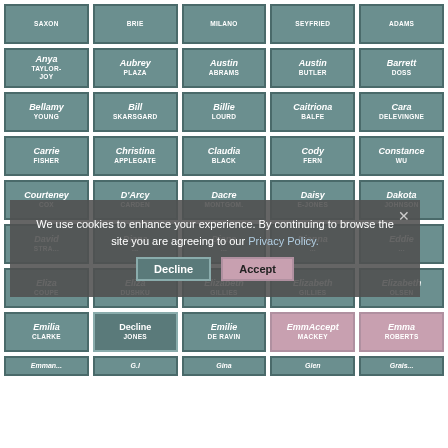[Figure (infographic): Grid of celebrity name cards (first name in italic, last name in caps) on teal/grey background tiles. A cookie consent overlay covers the middle of the page with 'We use cookies to enhance your experience. By continuing to browse the site you are agreeing to our Privacy Policy.' with Decline and Accept buttons.]